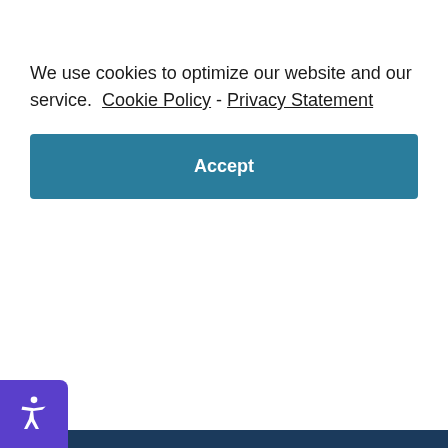We use cookies to optimize our website and our service.  Cookie Policy  -  Privacy Statement
Accept
Berry Law is America's Veterans Law Firm. Over 20% of the legal team at Berry Law Firm served in the military personally, and almost 100% of staff members have at least one immediate family member who served or is serving. Every day we bring the insight and experience of our military backgrounds to support our clients.
n Stevens Berry Jr. served as a Company Commander ring Operation Iraqi Freedom and also served in Operation Joint Forge in Bosnia. He recently wrote a comprehensive guide to veterans' disability benefits